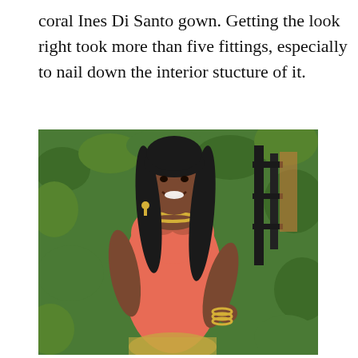coral Ines Di Santo gown. Getting the look right took more than five fittings, especially to nail down the interior stucture of it.
[Figure (photo): A woman wearing a coral/salmon strapless fitted gown with gold jewelry (necklace and bangles), posing in front of a green hedge backdrop. She has long dark hair with bangs and is smiling.]